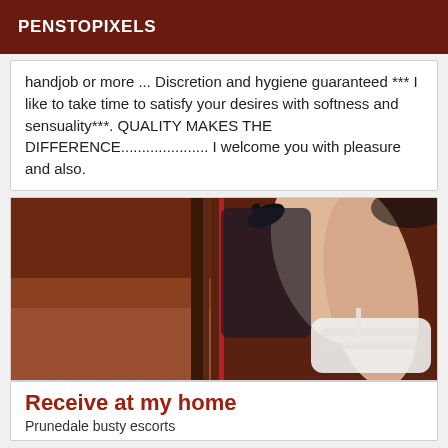PENSTOPIXELS
handjob or more ... Discretion and hygiene guaranteed *** I like to take time to satisfy your desires with softness and sensuality***. QUALITY MAKES THE DIFFERENCE..................... I welcome you with pleasure and also.
[Figure (photo): A woman in black outfit with red accent line, wearing white stockings and high heels, posed on a brown surface.]
Receive at my home
Prunedale busty escorts